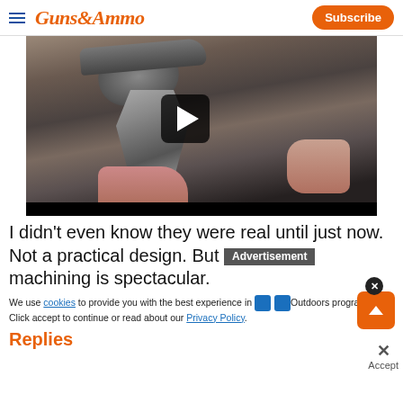GUNS&AMMO — Subscribe
[Figure (screenshot): Video thumbnail showing a close-up of a revolver with ornate machining on a dark background, with a play button overlay]
I didn't even know they were real until just now. Not a practical design. But the intricate machining is spectacular.
We use cookies to provide you with the best experience in Outdoors programming. Click accept to continue or read about our Privacy Policy.
Replies